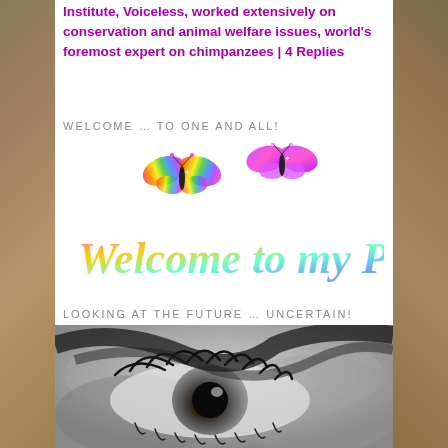Institute, Voiceless, worked extensively on conservation and animal welfare issues, world's foremost expert on chimpanzees | 4 Replies
WELCOME … TO ONE AND ALL!
[Figure (illustration): Colorful rainbow 'Welcome to my Page...' cursive text with two glittery butterflies (one rainbow-colored, one purple) above the text on a white background]
LOOKING AT THE FUTURE … UNCERTAIN!
[Figure (photo): Black and white close-up photo of what appears to be a person's eye with dramatic dark eyelashes and a blurred background]